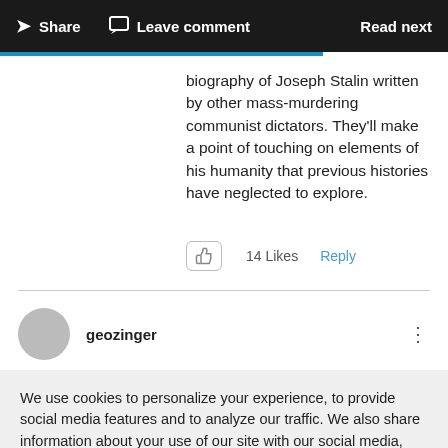Share  Leave comment  Read next
biography of Joseph Stalin written by other mass-murdering communist dictators. They'll make a point of touching on elements of his humanity that previous histories have neglected to explore.
14 Likes  Reply
geozinger
We use cookies to personalize your experience, to provide social media features and to analyze our traffic. We also share information about your use of our site with our social media, advertising and analytics partners. Cookie Settings
Accept all cookies